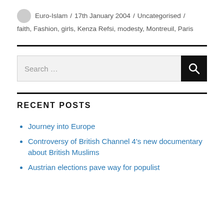Euro-Islam / 17th January 2004 / Uncategorised / faith, Fashion, girls, Kenza Refsi, modesty, Montreuil, Paris
RECENT POSTS
Journey into Europe
Controversy of British Channel 4's new documentary about British Muslims
Austrian elections pave way for populist